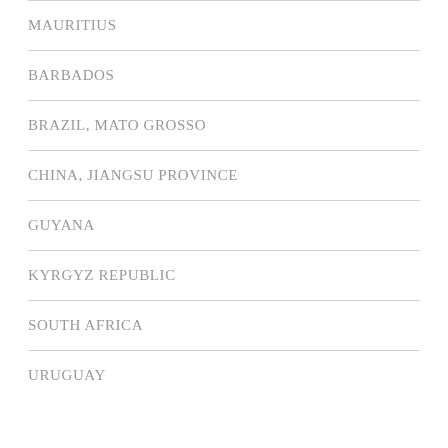MAURITIUS
BARBADOS
BRAZIL, MATO GROSSO
CHINA, JIANGSU PROVINCE
GUYANA
KYRGYZ REPUBLIC
SOUTH AFRICA
URUGUAY